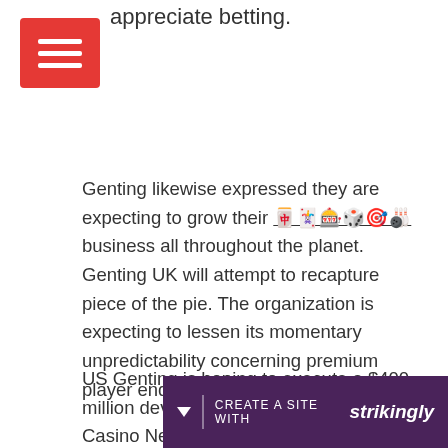appreciate betting.
Genting likewise expressed they are expecting to grow their 🀄🃏🎰🎲🎯🎳 business all throughout the planet. Genting UK will attempt to recapture piece of the pie. The organization is expecting to lessen its momentary unpredictability concerning premium player endeavors.
US Genting is hoping to execute a $400 million development for its Resorts World Casino New York cont
[Figure (other): Strikingly website builder banner with dropdown arrow, divider, 'CREATE A SITE WITH strikingly' text on dark purple background]